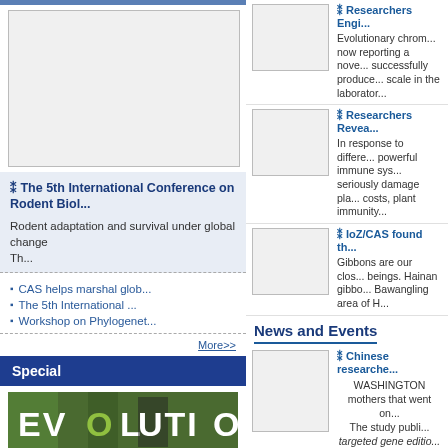[Figure (photo): Blank/placeholder image in left column top area]
The 5th International Conference on Rodent Biol...
Rodent adaptation and survival under global change
        Th...
CAS helps marshal glob...
The 5th International ...
Workshop on Phylogenet...
More>>
Special
[Figure (photo): EVOLUTION banner image with green and dark background]
Researchers Engi...
Evolutionary chrom... now reporting a nove... successfully produce... scale in the laborator...
Researchers Revea...
In response to differe... powerful immune sys... seriously damage pla... costs, plant immunity...
IoZ/CAS found th...
Gibbons are our clos... beings. Hainan gibbo... Bawangling area of H...
News and Events
Chinese researche...
WASHINGTON
mothers that went on...
The study publi...
targeted gene editio...